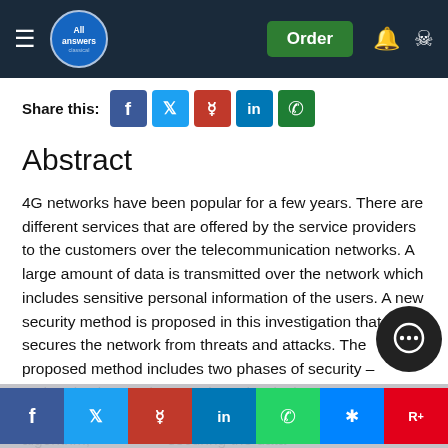All Answers | Order
Share this:
Abstract
4G networks have been popular for a few years. There are different services that are offered by the service providers to the customers over the telecommunication networks. A large amount of data is transmitted over the network which includes sensitive personal information of the users. A new security method is proposed in this investigation that secures the network from threats and attacks. The proposed method includes two phases of security – authentication, and encryption. The devices are authenticated using digital certificates. The encryption algorithm, … is used in securing the data th… t… s… e… k…